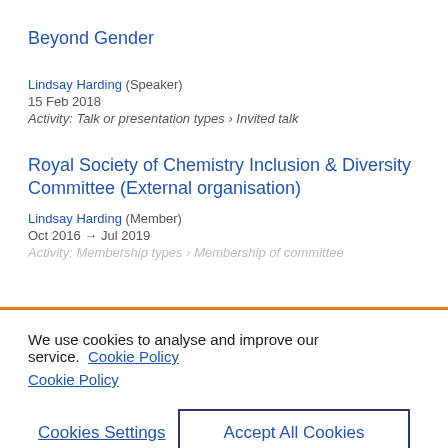Beyond Gender
Lindsay Harding (Speaker)
15 Feb 2018
Activity: Talk or presentation types › Invited talk
Royal Society of Chemistry Inclusion & Diversity Committee (External organisation)
Lindsay Harding (Member)
Oct 2016 → Jul 2019
Activity: Membership types › Membership of committee
We use cookies to analyse and improve our service. Cookie Policy
Cookies Settings
Accept All Cookies